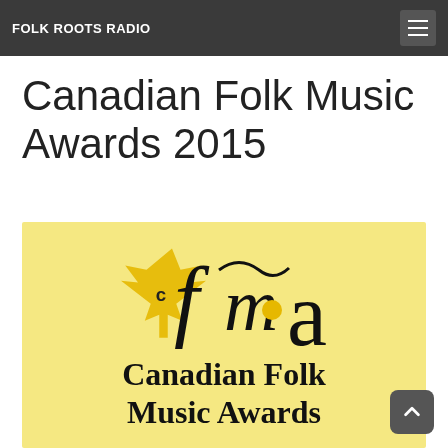Read More
FOLK ROOTS RADIO
Canadian Folk Music Awards 2015
[Figure (logo): Canadian Folk Music Awards logo on yellow background. Features a golden maple leaf with 'c' inside it, stylized script letters 'fma', and bold serif text reading 'Canadian Folk Music Awards' below.]